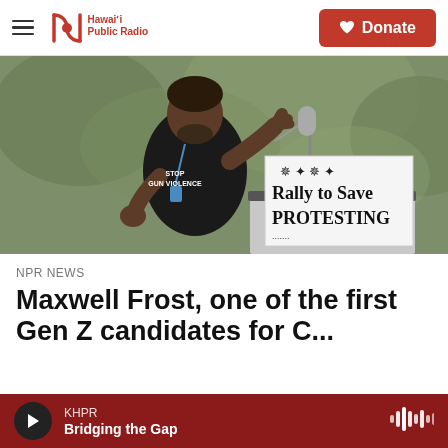Hawaiʻi Public Radio — Donate
[Figure (photo): A young Black man in a black t-shirt reading 'STOP GUN VIOLENCE' speaks passionately at a podium with a microphone. Behind the podium is a sign reading 'Rally to Save PROTESTING'. He gestures with his right hand raised.]
NPR News
Maxwell Frost, one of the first Gen Z candidates for C...
KHPR — Bridging the Gap